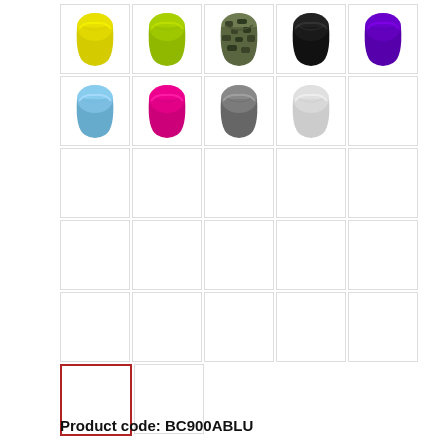[Figure (other): Grid of neck gaiter/tubular scarf product images in various colors: yellow, lime green, camo, black, purple (row 1); light blue, hot pink, gray, white, empty (row 2); 5 empty cells (row 3); 5 empty cells (row 4); 5 empty cells (row 5); 2 cells row 6 with first cell selected/highlighted in red border]
Product code: BC900ABLU